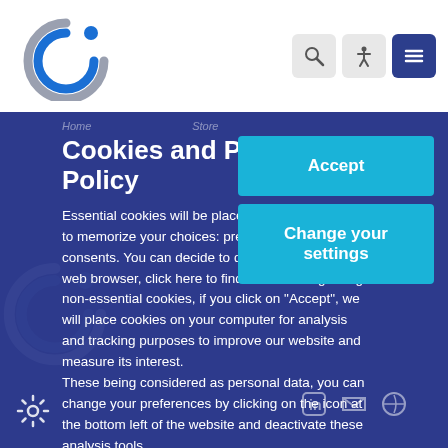[Figure (logo): Circular logo with two interlocking C shapes in blue and grey]
[Figure (other): Navigation icons: search magnifier, accessibility person, hamburger menu]
Cookies and Privacy Policy
Essential cookies will be placed on your computer to memorize your choices: preferences and consents. You can decide to disable cookies in your web browser, click here to find out how. Regarding non-essential cookies, if you click on "Accept", we will place cookies on your computer for analysis and tracking purposes to improve our website and measure its interest.
These being considered as personal data, you can change your preferences by clicking on the icon at the bottom left of the website and deactivate these analysis tools.
[Figure (other): Accept button - cyan/turquoise rounded rectangle]
[Figure (other): Change your settings button - cyan/turquoise rounded rectangle]